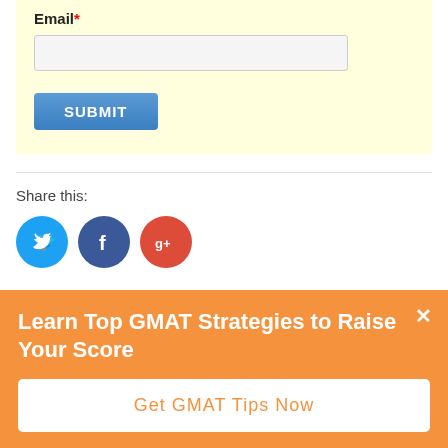Email*
SUBMIT
Share this:
[Figure (illustration): Social share icons: Twitter (blue circle with bird), Facebook (dark blue circle with f), Google+ (red circle with g+)]
Learn Top GMAT Strategies to Raise Your Score
Get GMAT Tips Now